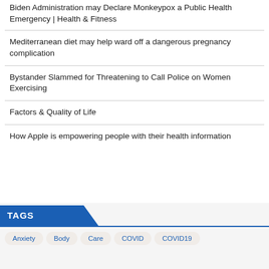Biden Administration may Declare Monkeypox a Public Health Emergency | Health & Fitness
Mediterranean diet may help ward off a dangerous pregnancy complication
Bystander Slammed for Threatening to Call Police on Women Exercising
Factors & Quality of Life
How Apple is empowering people with their health information
TAGS
Anxiety | Body | Care | COVID | COVID19